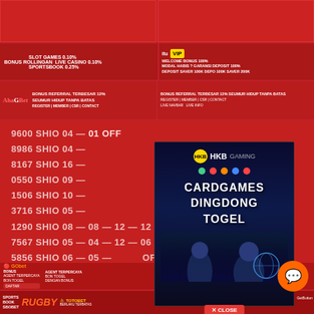[Figure (screenshot): Top two red banner ads side by side]
[Figure (infographic): Bonus rollingan strip: Slot Games 0.10%, Live Casino 0.10%, Sportsbook 0.25% left; ituVIP Welcome Bonus 100% right]
BONUS ROLLINGAN SLOT GAMES 0.10% LIVE CASINO 0.10% SPORTSBOOK 0.25%
itu VIP WELCOME BONUS 100% MODAL HABIS ? GARANSI DEPOSIT 100% DEPOSIT SAVER 100K DEPO 100K SAVER 200K
[Figure (screenshot): AhaBet bonus referral banner left; similar bonus referral banner right]
BONUS REFERRAL TERBESAR 12% SEUMUR HIDUP TANPA BATAS
[Figure (screenshot): Lottery results list with SHIO codes and numbers]
9600 SHIO 04 — 01 OFF
8986 SHIO 04 —
8167 SHIO 16 —
0550 SHIO 09 —
1506 SHIO 10 —
3716 SHIO 05 —
1290 SHIO 08 — 08 — 12 — 12 OFF
7567 SHIO 05 — 04 — 12 — 06 OFF
5856 SHIO 06 — 05 — OFF
[Figure (advertisement): HKB Gaming popup ad showing CARDGAMES DINGDONG TOGEL with game figures]
HKB GAMING CARDGAMES DINGDONG TOGEL
[Figure (screenshot): Bottom banner row: GObet bonus, CITIBET live]
[Figure (screenshot): Bottom banner row: RUGBY TOTOBET sports, E-GAMES, TOGEL]